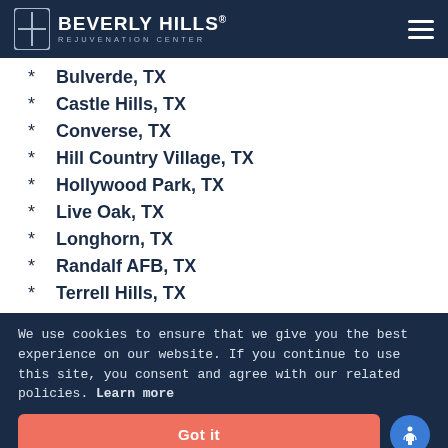BEVERLY HILLS REJUVENATION CENTER
Bulverde, TX
Castle Hills, TX
Converse, TX
Hill Country Village, TX
Hollywood Park, TX
Live Oak, TX
Longhorn, TX
Randalf AFB, TX
Terrell Hills, TX
We use cookies to ensure that we give you the best experience on our website. If you continue to use this site, you consent and agree with our related policies. Learn more
Got it